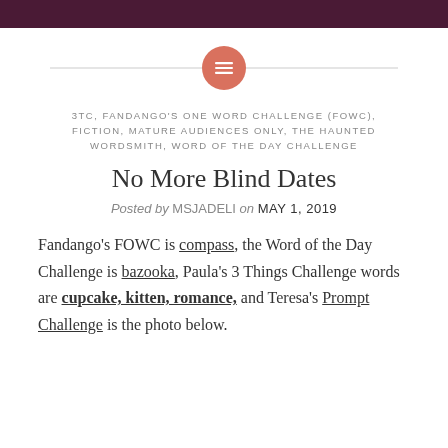[Figure (other): Decorative divider with a salmon/coral colored circle containing a menu/list icon, flanked by thin horizontal lines]
3TC, FANDANGO'S ONE WORD CHALLENGE (FOWC), FICTION, MATURE AUDIENCES ONLY, THE HAUNTED WORDSMITH, WORD OF THE DAY CHALLENGE
No More Blind Dates
Posted by MSJADELI on MAY 1, 2019
Fandango's FOWC is compass, the Word of the Day Challenge is bazooka, Paula's 3 Things Challenge words are cupcake, kitten, romance, and Teresa's Prompt Challenge is the photo below.